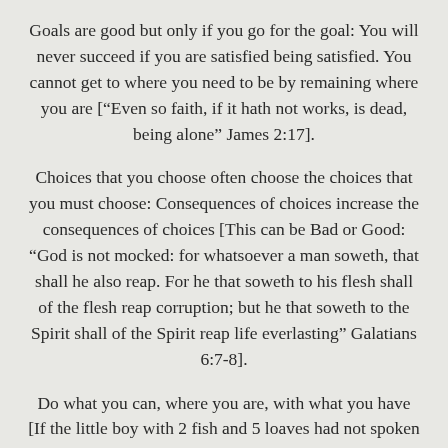Goals are good but only if you go for the goal: You will never succeed if you are satisfied being satisfied. You cannot get to where you need to be by remaining where you are [“Even so faith, if it hath not works, is dead, being alone” James 2:17].
Choices that you choose often choose the choices that you must choose: Consequences of choices increase the consequences of choices [This can be Bad or Good: “God is not mocked: for whatsoever a man soweth, that shall he also reap. For he that soweth to his flesh shall of the flesh reap corruption; but he that soweth to the Spirit shall of the Spirit reap life everlasting” Galatians 6:7-8].
Do what you can, where you are, with what you have [If the little boy with 2 fish and 5 loaves had not spoken up and then been willing to let his little do a